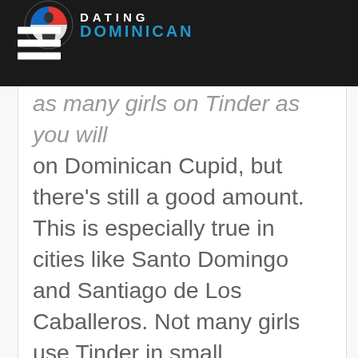Dating Dominican
as many girls on Tinder as you will on Dominican Cupid, but there's still a good amount. This is especially true in cities like Santo Domingo and Santiago de Los Caballeros. Not many girls use Tinder in small Dominican towns and cities.
The Tinder girls in the DR will be a little different than other women in the country. Most of the girls on Tinder here will have an interest in foreigners. They'll often be educated and speak decent English. Many of these girls will